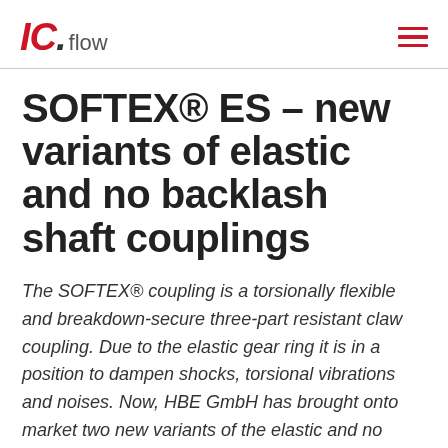IC. flow
SOFTEX® ES – new variants of elastic and no backlash shaft couplings
The SOFTEX® coupling is a torsionally flexible and breakdown-secure three-part resistant claw coupling. Due to the elastic gear ring it is in a position to dampen shocks, torsional vibrations and noises. Now, HBE GmbH has brought onto market two new variants of the elastic and no backlash shaft couplings: SOFTEX® ES 6.0 and SOFTEX®